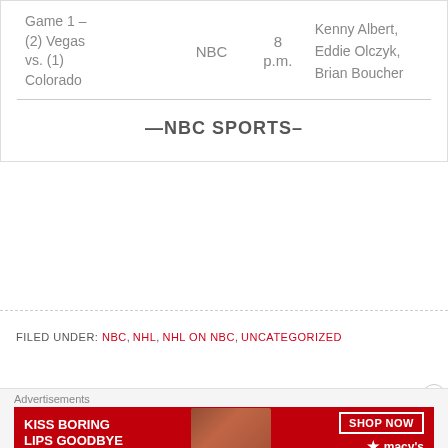| Game | Network | Time | Announcers |
| --- | --- | --- | --- |
| Game 1 – (2) Vegas vs. (1) Colorado | NBC | 8 p.m. | Kenny Albert, Eddie Olczyk, Brian Boucher |
—NBC SPORTS–
FILED UNDER: NBC, NHL, NHL ON NBC, UNCATEGORIZED
Advertisements
[Figure (other): Macy's advertisement banner: KISS BORING LIPS GOODBYE with SHOP NOW button and Macy's star logo]